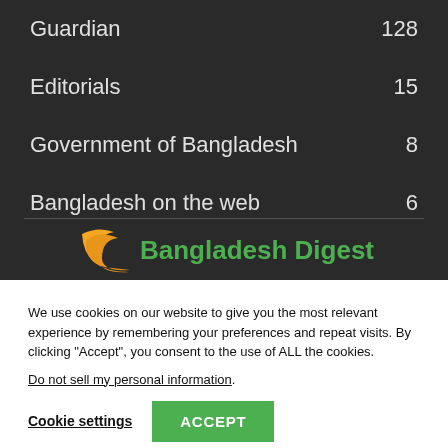Guardian 128
Editorials 15
Government of Bangladesh 8
Bangladesh on the web 6
[Figure (logo): Bangladesh Digest logo with orange curved shape and green text]
We use cookies on our website to give you the most relevant experience by remembering your preferences and repeat visits. By clicking “Accept”, you consent to the use of ALL the cookies.
Do not sell my personal information.
Cookie settings  ACCEPT